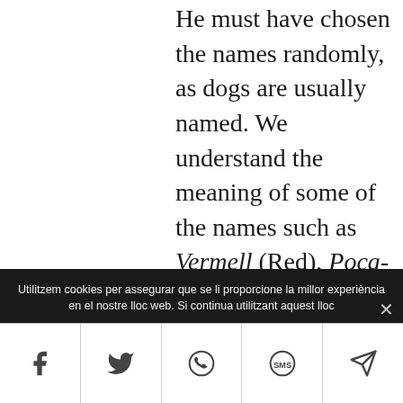He must have chosen the names randomly, as dogs are usually named. We understand the meaning of some of the names such as Vermell (Red), Poca-llàstima (Insolent),
Utilitzem cookies per assegurar que se li proporcione la millor experiència en el nostre lloc web. Si continua utilitzant aquest lloc suposem que accepta el seu ús.